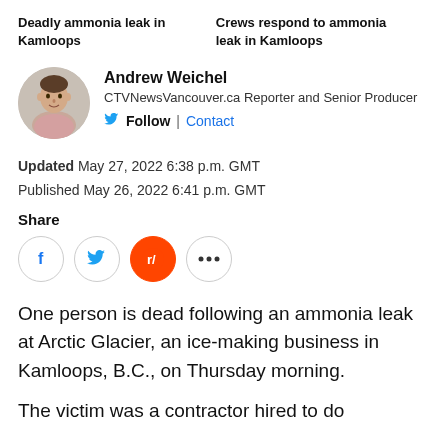Deadly ammonia leak in Kamloops
Crews respond to ammonia leak in Kamloops
[Figure (photo): Headshot photo of Andrew Weichel, a man in a light pink shirt, circular crop]
Andrew Weichel
CTVNewsVancouver.ca Reporter and Senior Producer
Follow | Contact
Updated May 27, 2022 6:38 p.m. GMT
Published May 26, 2022 6:41 p.m. GMT
Share
One person is dead following an ammonia leak at Arctic Glacier, an ice-making business in Kamloops, B.C., on Thursday morning.
The victim was a contractor hired to do